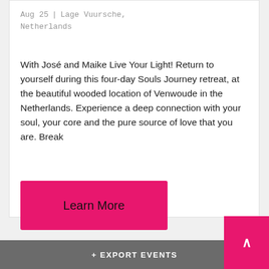Aug 25  |  Lage Vuursche, Netherlands
With José and Maike Live Your Light! Return to yourself during this four-day Souls Journey retreat, at the beautiful wooded location of Venwoude in the Netherlands. Experience a deep connection with your soul, your core and the pure source of love that you are. Break
Learn More
+ EXPORT EVENTS